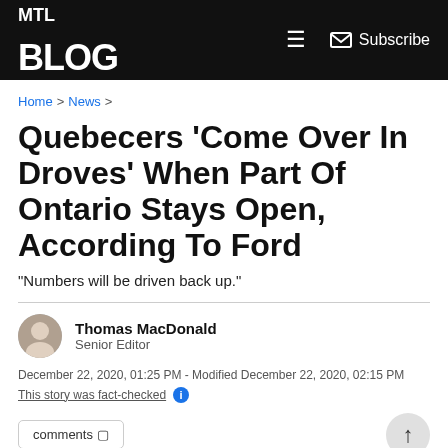MTL Blog — Subscribe
Home > News >
Quebecers 'Come Over In Droves' When Part Of Ontario Stays Open, According To Ford
"Numbers will be driven back up."
Thomas MacDonald
Senior Editor
December 22, 2020, 01:25 PM - Modified December 22, 2020, 02:15 PM
This story was fact-checked
comments 0